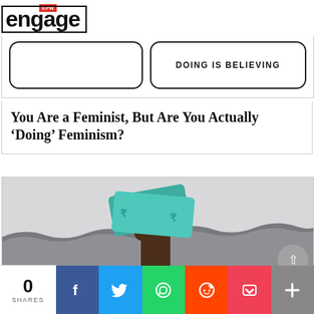EPW engage
[Figure (illustration): Partial view of article card showing two rounded rectangle buttons: left one partially visible, right one reading 'DOING IS BELIEVING']
You Are a Feminist, But Are You Actually ‘Doing’ Feminism?
[Figure (illustration): Illustration of a dark-skinned hand emerging from stylized grey waves, holding two Indian rupee banknotes (teal/green colored with rupee symbols)]
0 SHARES
[Figure (infographic): Social share bar with buttons for Facebook, Twitter, WhatsApp, Reddit, Pocket, and More (plus icon)]